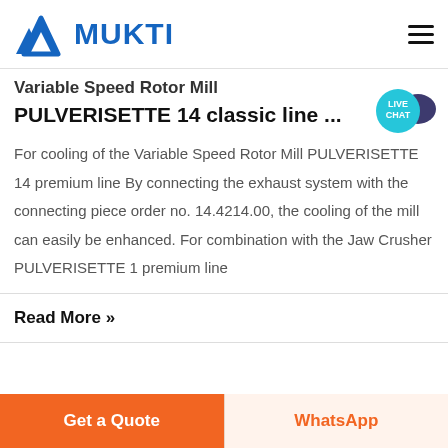MUKTI (logo header with navigation)
Variable Speed Rotor Mill PULVERISETTE 14 classic line ...
For cooling of the Variable Speed Rotor Mill PULVERISETTE 14 premium line By connecting the exhaust system with the connecting piece order no. 14.4214.00, the cooling of the mill can easily be enhanced. For combination with the Jaw Crusher PULVERISETTE 1 premium line
Read More »
Get a Quote | WhatsApp